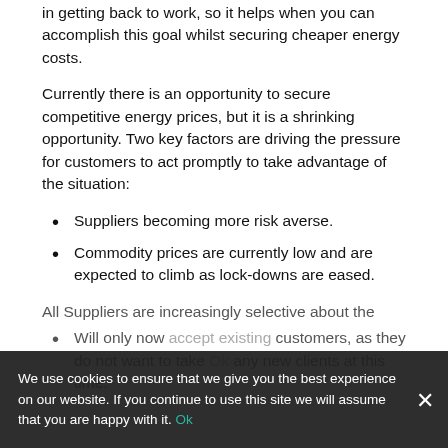in getting back to work, so it helps when you can accomplish this goal whilst securing cheaper energy costs.
Currently there is an opportunity to secure competitive energy prices, but it is a shrinking opportunity. Two key factors are driving the pressure for customers to act promptly to take advantage of the situation:
Suppliers becoming more risk averse.
Commodity prices are currently low and are expected to climb as lock-downs are eased.
All Suppliers are increasingly selective about the
Will only now [accept existing] customers, as they do not want to take any new clients at this time.
We use cookies to ensure that we give you the best experience on our website. If you continue to use this site we will assume that you are happy with it.